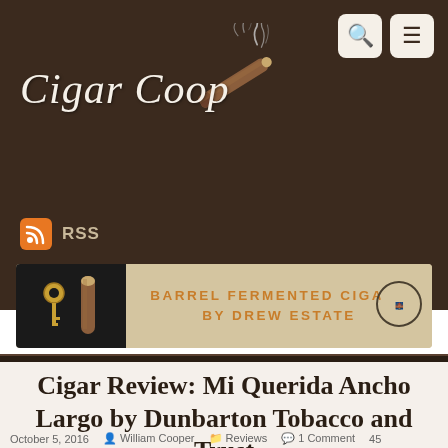[Figure (logo): Cigar Coop website logo with cursive text and illustrated cigar with smoke]
[Figure (illustration): RSS feed orange icon button]
RSS
[Figure (photo): Banner advertisement: Barrel Fermented Cigars by Drew Estate, with key and cigar imagery on dark background and parchment background]
Cigar Review: Mi Querida Ancho Largo by Dunbarton Tobacco and Trust
October 5, 2016  William Cooper  Reviews  1 Comment  45